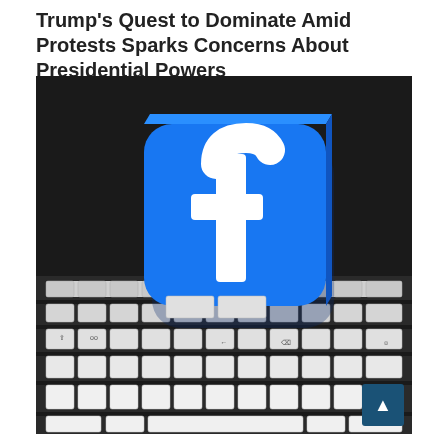Trump's Quest to Dominate Amid Protests Sparks Concerns About Presidential Powers
[Figure (photo): A 3D-printed Facebook logo (blue rounded square with white letter 'f') standing upright on a computer keyboard with white and dark keys]